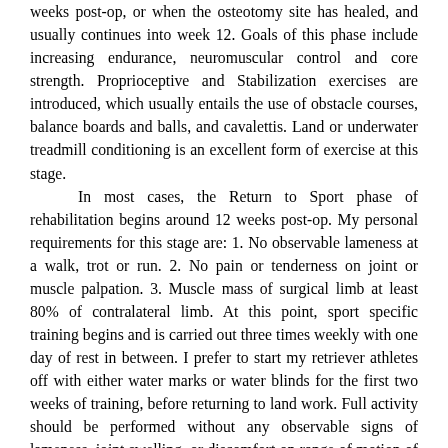weeks post-op, or when the osteotomy site has healed, and usually continues into week 12. Goals of this phase include increasing endurance, neuromuscular control and core strength. Proprioceptive and Stabilization exercises are introduced, which usually entails the use of obstacle courses, balance boards and balls, and cavalettis. Land or underwater treadmill conditioning is an excellent form of exercise at this stage. In most cases, the Return to Sport phase of rehabilitation begins around 12 weeks post-op. My personal requirements for this stage are: 1. No observable lameness at a walk, trot or run. 2. No pain or tenderness on joint or muscle palpation. 3. Muscle mass of surgical limb at least 80% of contralateral limb. At this point, sport specific training begins and is carried out three times weekly with one day of rest in between. I prefer to start my retriever athletes off with either water marks or water blinds for the first two weeks of training, before returning to land work. Full activity should be performed without any observable signs of lameness, joint swelling, or discomfort on range of motion of the surgical limb. Warming up prior to training, as well as cooling down with a 5-10 minute constant pace walk, should be a part of every session. Placing your retriever athletes in the care or under the